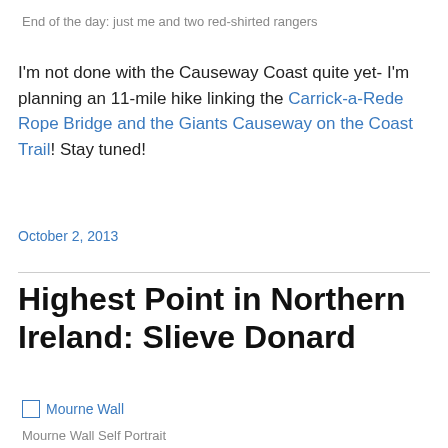End of the day: just me and two red-shirted rangers
I'm not done with the Causeway Coast quite yet- I'm planning an 11-mile hike linking the Carrick-a-Rede Rope Bridge and the Giants Causeway on the Coast Trail! Stay tuned!
October 2, 2013
Highest Point in Northern Ireland: Slieve Donard
[Figure (photo): Mourne Wall image placeholder with alt text 'Mourne Wall']
Mourne Wall Self Portrait